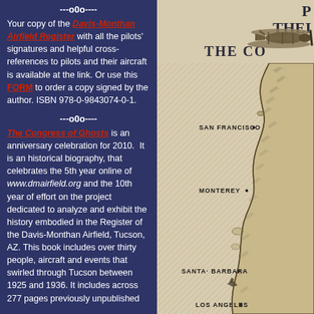---o0o----
Your copy of the Davis-Monthan Airfield Register with all the pilots' signatures and helpful cross-references to pilots and their aircraft is available at the link. Or use this FORM to order a copy signed by the author. ISBN 978-0-9843074-0-1.
---o0o----
The Congress of Ghosts is an anniversary celebration for 2010. It is an historical biography, that celebrates the 5th year online of www.dmairfield.org and the 10th year of effort on the project dedicated to analyze and exhibit the history embodied in the Register of the Davis-Monthan Airfield, Tucson, AZ. This book includes over thirty people, aircraft and events that swirled through Tucson between 1925 and 1936. It includes across 277 pages previously unpublished
[Figure (map): A vintage-style map of the California coastline showing San Francisco, Monterey, Santa Barbara, and Los Angeles, with a biplane illustration in the upper right. Partial title text reading 'P... THEI... THE CO...' visible.]